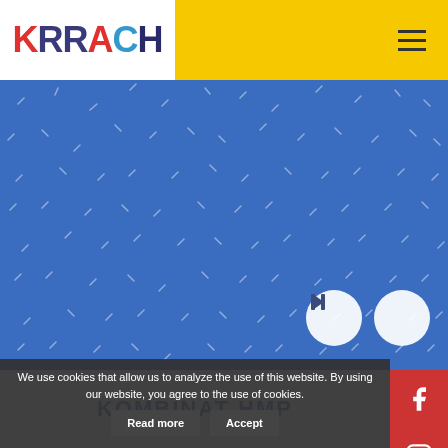[Figure (logo): KRRACH logo with colorful letters on white background]
[Figure (illustration): Blue panel with scattered white dashes/confetti pattern and media control buttons (pause and volume)]
KOMBINAT HMP
[Figure (infographic): Social media sidebar with Facebook, Instagram, and Twitter icons on red background]
We use cookies that allow us to analyze the use of this website. By using our website, you agree to the use of cookies.